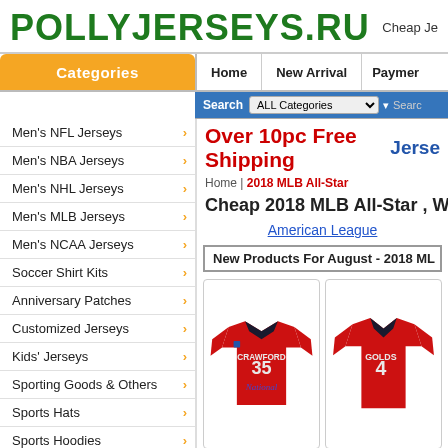POLLYJERSEYS.RU — Cheap Jerseys
Categories | Home | New Arrival | Payment
Search ALL Categories
Over 10pc Free Shipping   Jersey
Home | 2018 MLB All-Star
Cheap 2018 MLB All-Star , Whole
American League
New Products For August - 2018 ML
Men's NFL Jerseys
Men's NBA Jerseys
Men's NHL Jerseys
Men's MLB Jerseys
Men's NCAA Jerseys
Soccer Shirt Kits
Anniversary Patches
Customized Jerseys
Kids' Jerseys
Sporting Goods & Others
Sports Hats
Sports Hoodies
Women's Jerseys
[Figure (photo): Red MLB All-Star National League jersey #35 CRAWFORD]
[Figure (photo): Red MLB jersey partially visible, GOLDS #4]